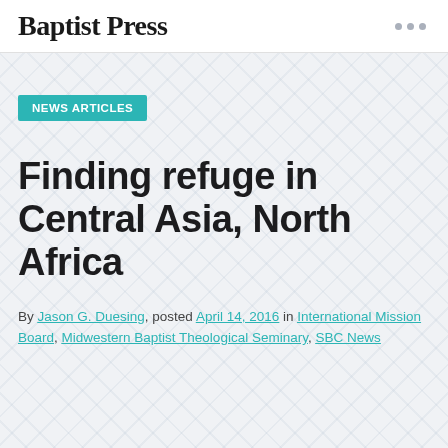Baptist Press
NEWS ARTICLES
Finding refuge in Central Asia, North Africa
By Jason G. Duesing, posted April 14, 2016 in International Mission Board, Midwestern Baptist Theological Seminary, SBC News